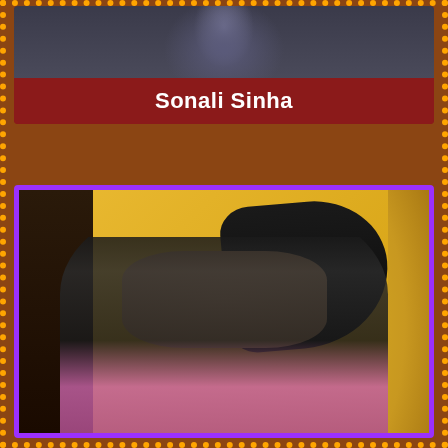[Figure (photo): Top photo showing a person in a dark interior setting]
Sonali Sinha
[Figure (photo): Photo of a young woman in a black backless blouse against a yellow wall, looking over her shoulder]